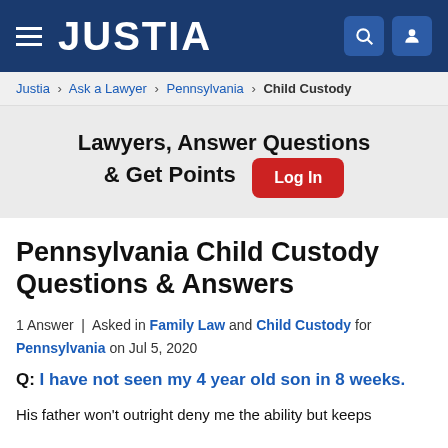JUSTIA
Justia > Ask a Lawyer > Pennsylvania > Child Custody
Lawyers, Answer Questions & Get Points  Log In
Pennsylvania Child Custody Questions & Answers
1 Answer | Asked in Family Law and Child Custody for Pennsylvania on Jul 5, 2020
Q: I have not seen my 4 year old son in 8 weeks.
His father won't outright deny me the ability but keeps